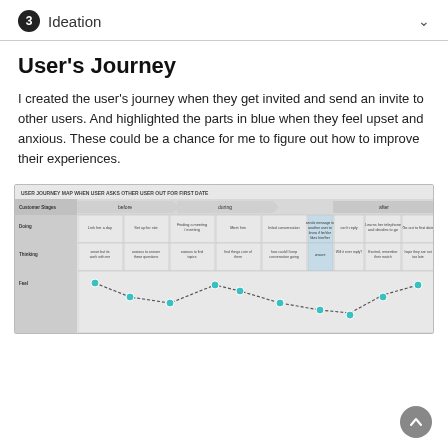3 Ideation
User's Journey
I created the user's journey when they get invited and send an invite to other users. And highlighted the parts in blue when they feel upset and anxious. These could be a chance for me to figure out how to improve their experiences.
[Figure (infographic): User journey map diagram titled 'USER JOURNEY MAP WHEN USER ASKS OTHER USER OUT FOR FIRST DATE' with rows for Customer Stages, Doing, Thinking, and Feel, showing stages Before, During, and After with a sentiment line chart at the bottom using teal dots.]